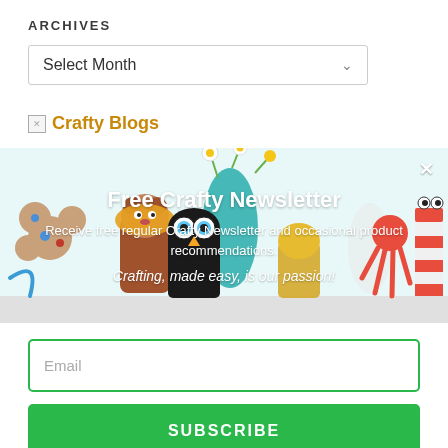ARCHIVES
Select Month
Crafty Blogs
[Figure (photo): A colorful banner image showing handmade craft toys/characters (animals made from recycled materials) on a white shelf with flowers in a glass jar. Overlay text reads 'Free Crafty Newsletter' with description 'Receive free regular Crafty Newsletter and occasional product recommendations. Crafting, made easy, is our passion!']
Email
SUBSCRIBE